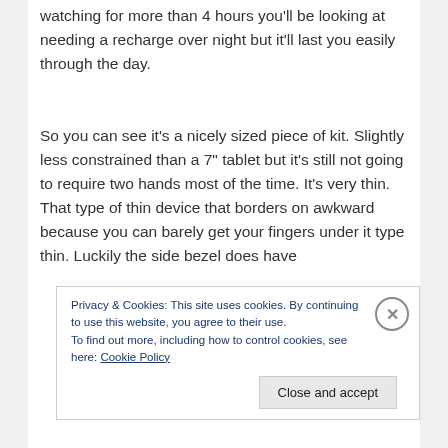watching for more than 4 hours you'll be looking at needing a recharge over night but it'll last you easily through the day.
So you can see it's a nicely sized piece of kit. Slightly less constrained than a 7" tablet but it's still not going to require two hands most of the time. It's very thin. That type of thin device that borders on awkward because you can barely get your fingers under it type thin. Luckily the side bezel does have
Privacy & Cookies: This site uses cookies. By continuing to use this website, you agree to their use.
To find out more, including how to control cookies, see here: Cookie Policy
Close and accept